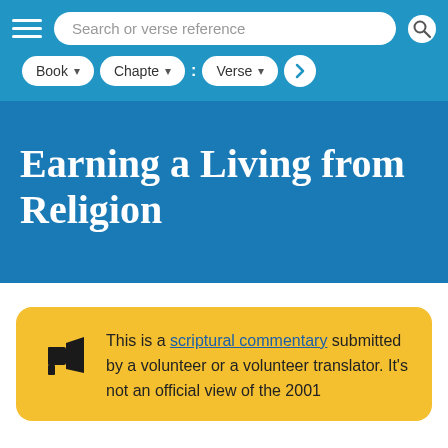[Figure (screenshot): Website navigation bar with hamburger menu, search box labeled 'Search or verse reference', and dropdown selectors for Book, Chapter, and Verse with a go button]
Earning a Living from Religion
This is a scriptural commentary submitted by a volunteer or a volunteer translator. It's not an official view of the 2001